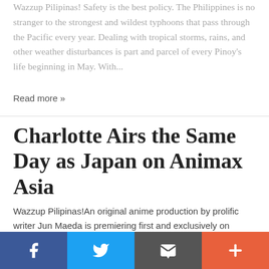Wazzup Pilipinas! Safety is the best policy. The Philippines is no stranger to the strongest and wildest typhoons that pass through the Pacific every year. Dealing with tropical storms, rains, and other weather disturbances is part and parcel of every Pinoy's life beginning in May. With...
Read more »
Charlotte Airs the Same Day as Japan on Animax Asia
Wazzup Pilipinas!An original anime production by prolific writer Jun Maeda is premiering first and exclusively on Animax – Asia's first 24-hour Japanese anime channel.Renowned Japanese visual studio Key has come together with Progressive Animation (P.A.) Works for Charlotte, which will air on the...